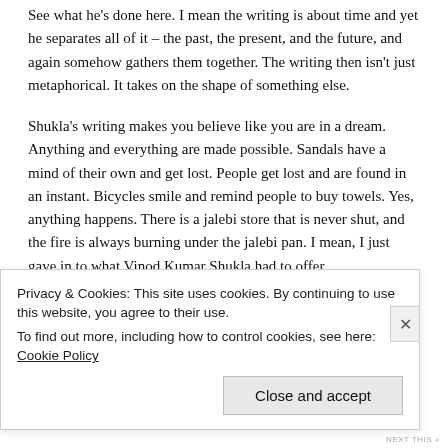See what he's done here. I mean the writing is about time and yet he separates all of it – the past, the present, and the future, and again somehow gathers them together. The writing then isn't just metaphorical. It takes on the shape of something else.
Shukla's writing makes you believe like you are in a dream. Anything and everything are made possible. Sandals have a mind of their own and get lost. People get lost and are found in an instant. Bicycles smile and remind people to buy towels. Yes, anything happens. There is a jalebi store that is never shut, and the fire is always burning under the jalebi pan. I mean, I just gave in to what Vinod Kumar Shukla had to offer.
Privacy & Cookies: This site uses cookies. By continuing to use this website, you agree to their use.
To find out more, including how to control cookies, see here: Cookie Policy
Close and accept